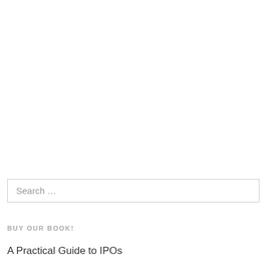Search …
BUY OUR BOOK!
A Practical Guide to IPOs